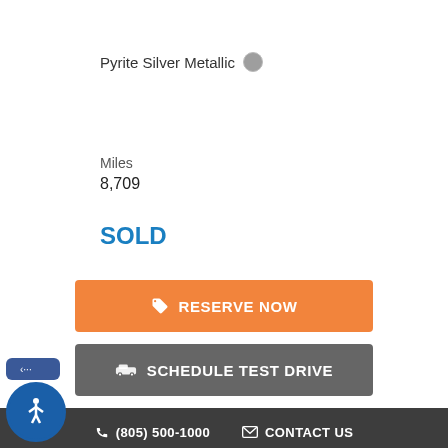Pyrite Silver Metallic
Miles
8,709
SOLD
RESERVE NOW
SCHEDULE TEST DRIVE
(805) 500-1000  CONTACT US
SAVE TO PHONE
TRADE-IN APPRAISAL